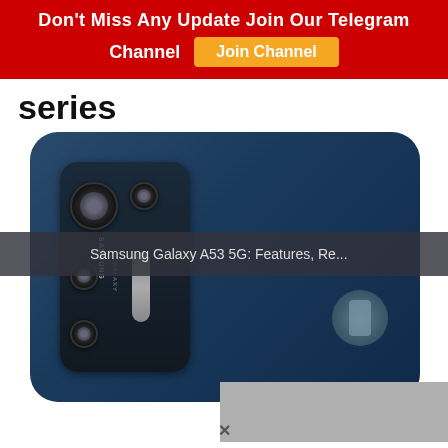Don't Miss Any Update Join Our Telegram Channel  Join Channel
series
[Figure (photo): Back of a dark blue Samsung Galaxy smartphone showing quad camera module on the left side and a circular fingerprint sensor on the right. A video player overlay shows 'Samsung Galaxy A53 5G: Features, Re...']
Samsung Galaxy A53 5G: Features, Re...